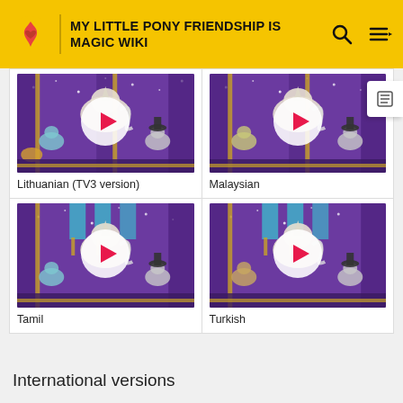MY LITTLE PONY FRIENDSHIP IS MAGIC WIKI
[Figure (screenshot): Video thumbnail showing MLP animated scene - Lithuanian (TV3 version) with play button overlay]
Lithuanian (TV3 version)
[Figure (screenshot): Video thumbnail showing MLP animated scene - Malaysian with play button overlay]
Malaysian
[Figure (screenshot): Video thumbnail showing MLP animated scene - Tamil with play button overlay]
Tamil
[Figure (screenshot): Video thumbnail showing MLP animated scene - Turkish with play button overlay]
Turkish
International versions